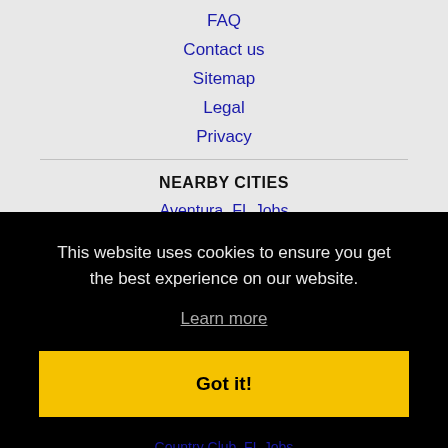FAQ
Contact us
Sitemap
Legal
Privacy
NEARBY CITIES
Aventura, FL Jobs
Bal Harbour, FL Jobs
This website uses cookies to ensure you get the best experience on our website.
Learn more
Got it!
Country Club, FL Jobs